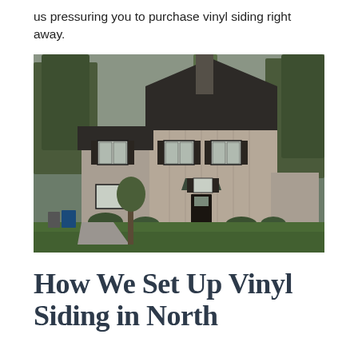us pressuring you to purchase vinyl siding right away.
[Figure (photo): Two-story residential house with beige/tan vertical board and batten siding, dark shutters, black roof, chimney, front porch with awning, surrounded by green lawn and trees in a suburban setting.]
How We Set Up Vinyl Siding in North